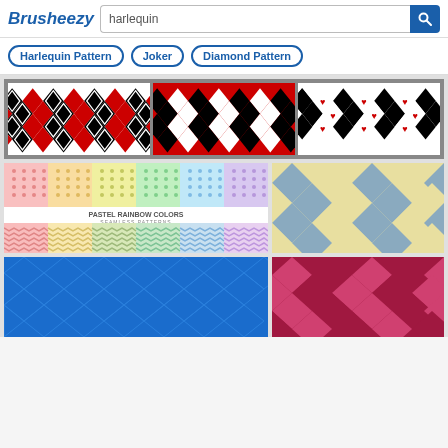Brusheezy — harlequin search results
Harlequin Pattern
Joker
Diamond Pattern
[Figure (illustration): Three harlequin/diamond pattern thumbnails in black, red, white — banner strip]
[Figure (illustration): Pastel rainbow colors seamless patterns sheet with chevron patterns below]
[Figure (illustration): Cream and blue/grey harlequin diamond pattern]
[Figure (illustration): Solid blue harlequin/diamond texture pattern (partial, bottom of page)]
[Figure (illustration): Crimson/magenta harlequin diamond pattern (partial, bottom of page)]